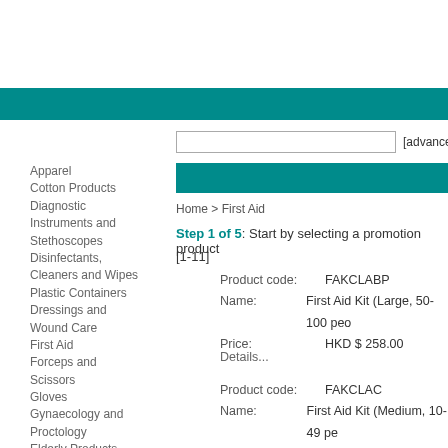[advanced]
Apparel
Cotton Products
Diagnostic Instruments and Stethoscopes
Disinfectants, Cleaners and Wipes
Plastic Containers
Dressings and Wound Care
First Aid
Forceps and Scissors
Gloves
Gynaecology and Proctology
Elderly Products
Mask
Syringes and Needles
Thermometers
Labware
Home > First Aid
Step 1 of 5: Start by selecting a promotion product [1-11]
Product code: FAKCLABP
Name: First Aid Kit (Large, 50-100 peo
Price: HKD $ 258.00
Details...
Product code: FAKCLAC
Name: First Aid Kit (Medium, 10-49 pe
Price: HKD $ 290.00